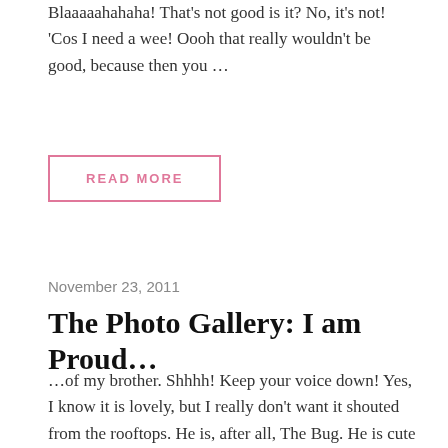Blaaaaahahaha! That's not good is it? No, it's not! 'Cos I need a wee! Oooh that really wouldn't be good, because then you …
READ MORE
November 23, 2011
The Photo Gallery: I am Proud…
…of my brother. Shhhh! Keep your voice down! Yes, I know it is lovely, but I really don't want it shouted from the rooftops. He is, after all, The Bug. He is cute and annoying in equal measure, and if he ever got wise to the fact that I